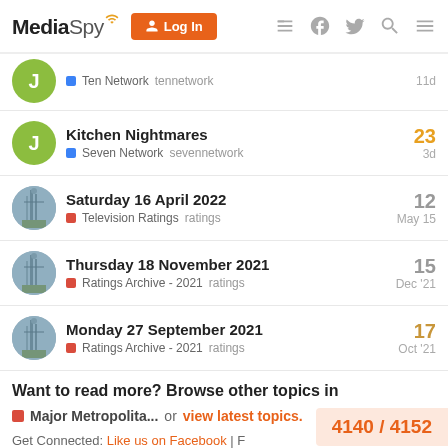MediaSpy | Log In navigation header
Ten Network  tennetwork  11d
Kitchen Nightmares  Seven Network  sevennetwork  23  3d
Saturday 16 April 2022  Television Ratings  ratings  12  May 15
Thursday 18 November 2021  Ratings Archive - 2021  ratings  15  Dec '21
Monday 27 September 2021  Ratings Archive - 2021  ratings  17  Oct '21
Want to read more? Browse other topics in
Major Metropolita...  or  view latest topics.
Get Connected: Like us on Facebook | F
4140 / 4152